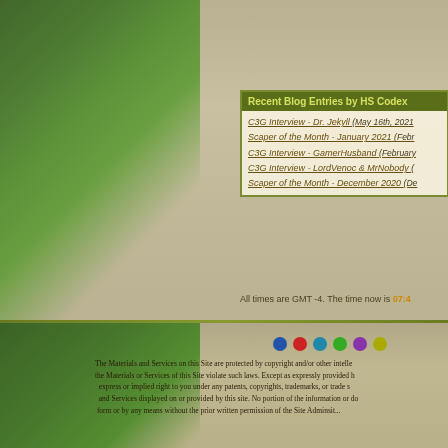Recent Blog Entries by HS Codex
C3G Interview - Dr. Jekyll (May 16th, 2021)
Scaper of the Month - January 2021 (February...)
C3G Interview - GamerHusband (February...)
C3G Interview - LordVenoc & MrNobody (...)
Scaper of the Month - December 2020 (De...)
All times are GMT -4. The time now is 07:4...
[Figure (other): Social/sharing icon buttons row - blue, red, teal, green, purple, yellow circles]
The Materials and Services on this Site are protected by copyright and/or other intellectual property laws. Unauthorized use of the Materials or Services of this Site violate such laws. Except as expressly provided herein, Heroscapers does not grant any express or implied right to you under any patents, copyrights, trademarks, or trade secrets. Heroscapers retains all rights in the Materials and Services displayed on or provided by this site. No portion of the information or documents may be reproduced in any form or by any means without the prior written permission of the Site Adminsitr...
Copyright © 2008, Heroscapers.com
---- Ticalla Jungle & Wave 8
Heroscapers.com - M...
Powered by vBulletin® Version 3.8.8
Copyright ©2000 - 2022, vBulletin Solutions, Inc.
User Alert System provided by Advanced User Tagging (Lite) - vBulletin Mods & Addons
Copyright © 2022 DragonByte Technologies Ltd.